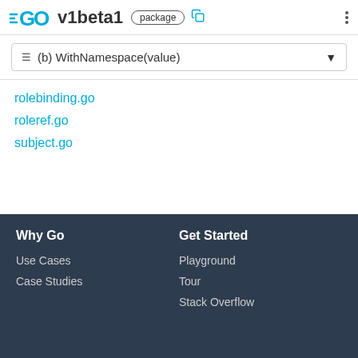GO v1beta1 package
≡ (b) WithNamespace(value)
rolebinding.go
roleref.go
subject.go
Why Go | Get Started | Use Cases | Playground | Case Studies | Tour | Stack Overflow